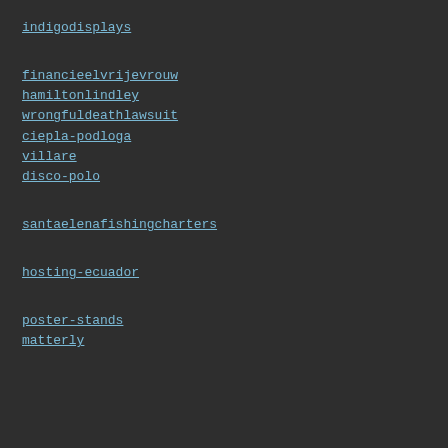indigodisplays
financieelvrijevrouw
hamiltonlindley
wrongfuldeathlawsuit
ciepla-podloga
villare
disco-polo
santaelenafishingcharters
hosting-ecuador
poster-stands
matterly